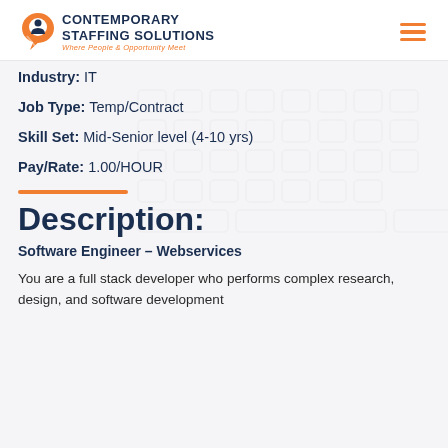[Figure (logo): Contemporary Staffing Solutions logo with orange speech bubble icon and tagline 'Where People & Opportunity Meet']
Industry: IT
Job Type: Temp/Contract
Skill Set: Mid-Senior level (4-10 yrs)
Pay/Rate: 1.00/HOUR
Description:
Software Engineer – Webservices
You are a full stack developer who performs complex research, design, and software development